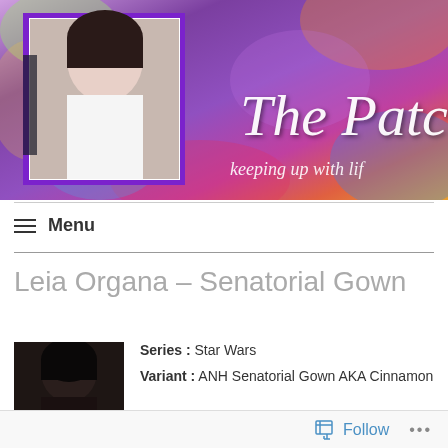[Figure (photo): Website banner with colorful abstract painted background in purple, pink, orange and green tones. A woman in white dress with necklace appears in a purple-bordered photo frame on the left. Cursive white text reads 'The Patc' and 'keeping up with lif' (partially visible).]
Menu
Leia Organa – Senatorial Gown
[Figure (photo): Small thumbnail photo showing a woman with dark hair from behind/side angle.]
Series : Star Wars
Variant : ANH Senatorial Gown AKA Cinnamon